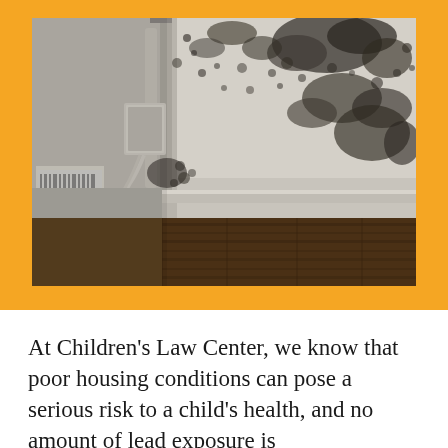[Figure (photo): Close-up photograph of a room corner showing severe black mold growth on white walls and ceiling. A pipe and electrical outlet are visible on the left wall. The floor shows old wooden boards. The mold appears as dark black spots and patches spread across the upper wall and ceiling surfaces.]
At Children's Law Center, we know that poor housing conditions can pose a serious risk to a child's health, and no amount of lead exposure is